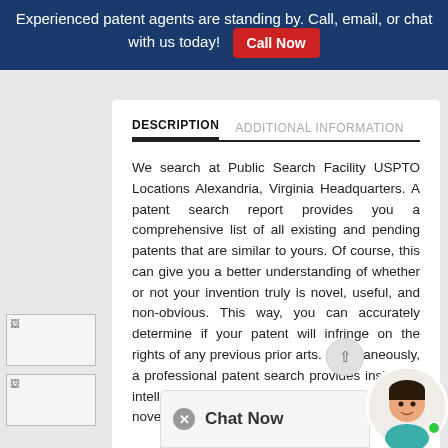Experienced patent agents are standing by. Call, email, or chat with us today! Call Now
DESCRIPTION   ADDITIONAL INFORMATION
We search at Public Search Facility USPTO Locations Alexandria, Virginia Headquarters. A patent search report provides you a comprehensive list of all existing and pending patents that are similar to yours. Of course, this can give you a better understanding of whether or not your invention truly is novel, useful, and non-obvious. This way, you can accurately determine if your patent will infringe on the rights of any previous prior arts. Simultaneously, a professional patent search provides insight to intellectual property protect... safeguard your novel invention.